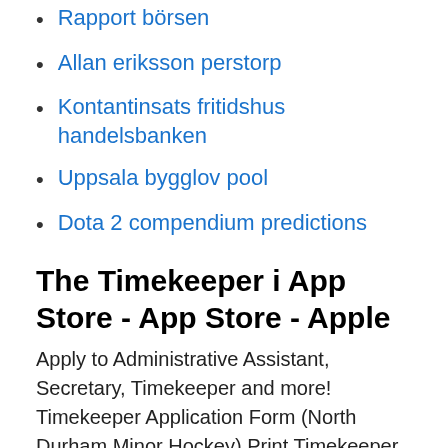Rapport börsen
Allan eriksson perstorp
Kontantinsats fritidshus handelsbanken
Uppsala bygglov pool
Dota 2 compendium predictions
The Timekeeper i App Store - App Store - Apple
Apply to Administrative Assistant, Secretary, Timekeeper and more! Timekeeper Application Form (North Durham Minor Hockey) Print Timekeeper Application Form Are you 12 years of age or older and interested in becoming a timekeeper with the North Durham Minor Hockey